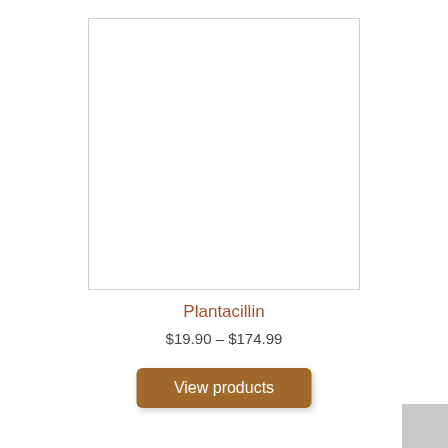[Figure (photo): White blank product image box with light gray border]
Plantacillin
$19.90 – $174.99
View products